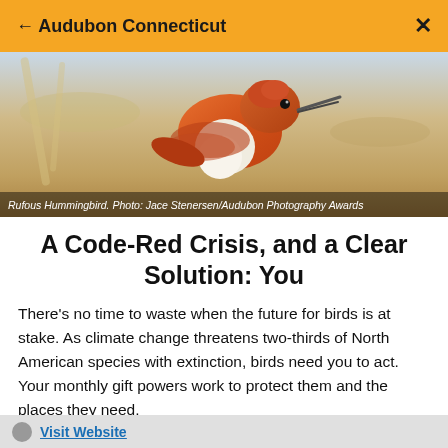← Audubon Connecticut ×
[Figure (photo): Close-up photo of a Rufous Hummingbird with orange-red plumage and white breast, against a blurred background]
Rufous Hummingbird. Photo: Jace Stenersen/Audubon Photography Awards
A Code-Red Crisis, and a Clear Solution: You
There's no time to waste when the future for birds is at stake. As climate change threatens two-thirds of North American species with extinction, birds need you to act. Your monthly gift powers work to protect them and the places they need.
Donate Now
Visit Website